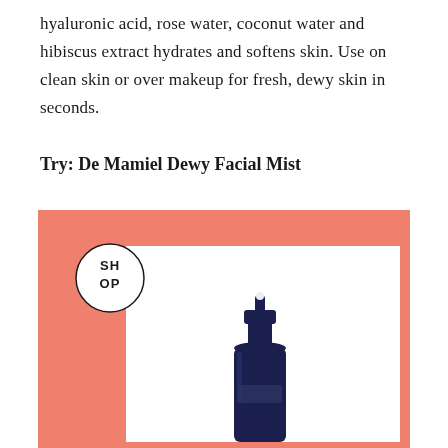hyaluronic acid, rose water, coconut water and hibiscus extract hydrates and softens skin. Use on clean skin or over makeup for fresh, dewy skin in seconds.
Try: De Mamiel Dewy Facial Mist
[Figure (photo): A dark blue glass spray bottle (De Mamiel Dewy Facial Mist) displayed on a white background within a salmon/coral pink frame. A circular 'SHOP' badge appears in the top-left corner of the frame.]